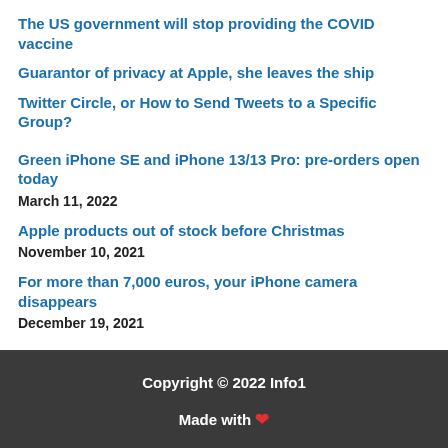The US government will stop providing the COVID vaccine
Guarantor of privacy at Apple, she leaves the ship
Twitter Circle, or How to Send Tweets to a Specific Group?
Green iPhone SE and iPhone 13/13 Pro: pre-orders open today
March 11, 2022
Apple products out of stock before Christmas
November 10, 2021
For more than 7,000 euros, your iPhone camera disappears
December 19, 2021
Copyright © 2022 Info1
Made with ❤